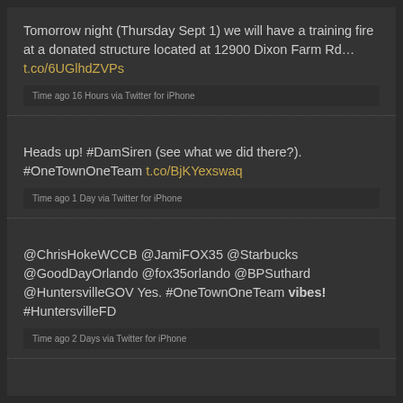Tomorrow night (Thursday Sept 1) we will have a training fire at a donated structure located at 12900 Dixon Farm Rd... t.co/6UGlhdZVPs
Time ago 16 Hours via Twitter for iPhone
Heads up! #DamSiren (see what we did there?). #OneTownOneTeam t.co/BjKYexswaq
Time ago 1 Day via Twitter for iPhone
@ChrisHokeWCCB @JamiFOX35 @Starbucks @GoodDayOrlando @fox35orlando @BPSuthard @HuntersvilleGOV Yes. #OneTownOneTeam vibes! #HuntersvilleFD
Time ago 2 Days via Twitter for iPhone